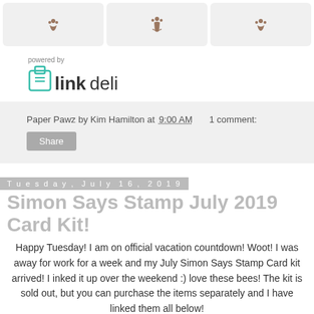[Figure (photo): Three thumbnail images of dog/animal stamps arranged in a row with light gray backgrounds]
[Figure (logo): linkdeli logo with 'powered by' text above it]
Paper Pawz by Kim Hamilton at 9:00 AM    1 comment:
Share
Tuesday, July 16, 2019
Simon Says Stamp July 2019 Card Kit!
Happy Tuesday! I am on official vacation countdown! Woot! I was away for work for a week and my July Simon Says Stamp Card kit arrived! I inked it up over the weekend :) love these bees! The kit is sold out, but you can purchase the items separately and I have linked them all below!
[Figure (photo): Partial photo of card/stamp artwork at bottom of page]